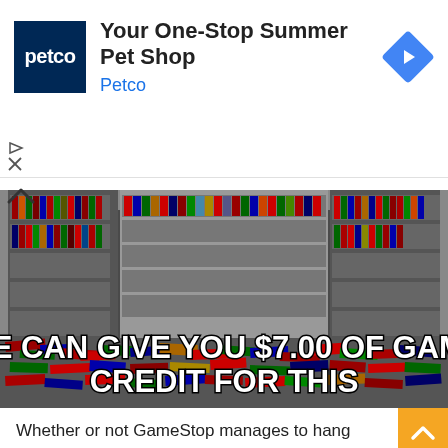[Figure (infographic): Petco advertisement banner with navy blue Petco logo square, ad headline 'Your One-Stop Summer Pet Shop', subtext 'Petco', and a blue diamond navigation arrow icon on the right. Play and X ad control icons on the lower left.]
[Figure (photo): Meme image of a game store interior packed floor-to-ceiling with video game cases on shelves and piled on the floor. White bold Impact font text overlay reads: 'WE CAN GIVE YOU $7.00 OF GAME CREDIT FOR THIS']
Whether or not GameStop manages to hang on, the new platform announcements might be the last it sees. They'll get a boon from gamers trading in used games and hardware, but now with competition from local retro stores that are more